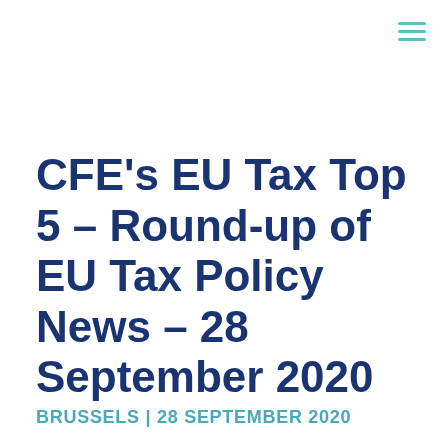CFE's EU Tax Top 5 – Round-up of EU Tax Policy News – 28 September 2020
BRUSSELS | 28 SEPTEMBER 2020